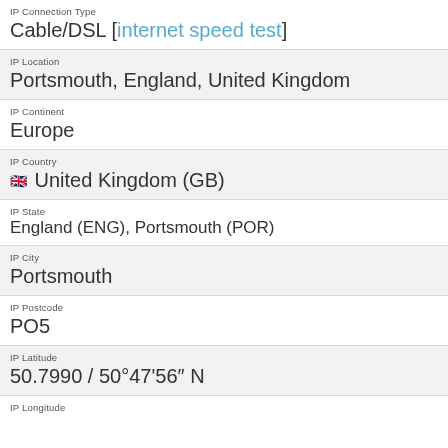IP Connection Type
Cable/DSL [internet speed test]
IP Location
Portsmouth, England, United Kingdom
IP Continent
Europe
IP Country
🇬🇧 United Kingdom (GB)
IP State
England (ENG), Portsmouth (POR)
IP City
Portsmouth
IP Postcode
PO5
IP Latitude
50.7990 / 50°47'56" N
IP Longitude